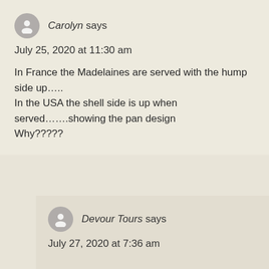Carolyn says
July 25, 2020 at 11:30 am
In France the Madelaines are served with the hump side up.....
In the USA the shell side is up when served…...showing the pan design
Why?????
Devour Tours says
July 27, 2020 at 7:36 am